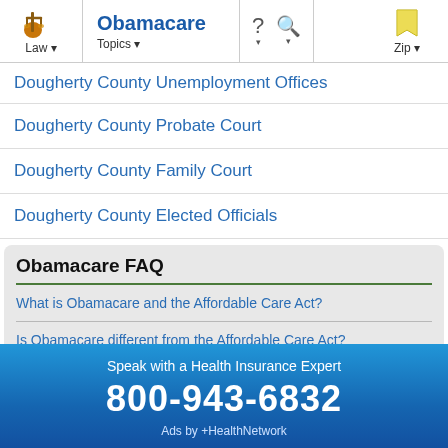Obamacare | Law ▾ | Topics ▾ | ? ▾ | 🔍 ▾ | Zip ▾
Dougherty County Unemployment Offices
Dougherty County Probate Court
Dougherty County Family Court
Dougherty County Elected Officials
Obamacare FAQ
What is Obamacare and the Affordable Care Act?
Is Obamacare different from the Affordable Care Act?
What do Obamacare health insurance plans cover?
Will I be penalized if I don't have health insurance?
Speak with a Health Insurance Expert
800-943-6832
Ads by +HealthNetwork